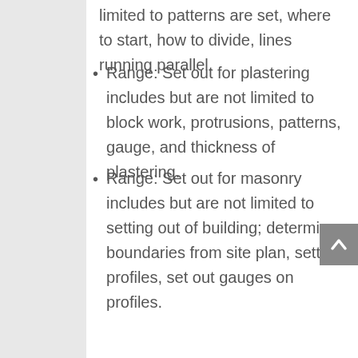limited to patterns are set, where to start, how to divide, lines running parallel.
Range: Set out for plastering includes but are not limited to block work, protrusions, patterns, gauge, and thickness of plastering.
Range: Set out for masonry includes but are not limited to setting out of building; determine boundaries from site plan, setting profiles, set out gauges on profiles.
Range: Set out for joinery includes but are not limited to jigs, cutting lists, templates for windows and doors.
Range: Set out for carpentry includes but are not limited to setting out of building, profiles; determine boundaries for site planes, building lines, establish pegs.
Range: Set out for roofing includes but are